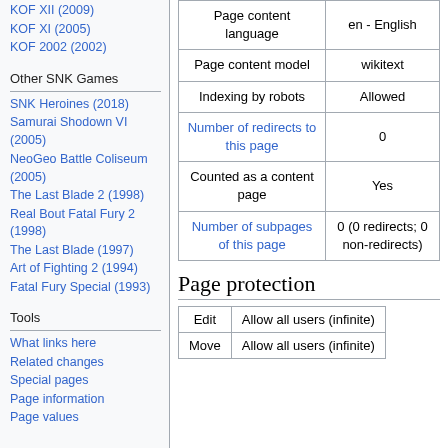KOF XII (2009)
KOF XI (2005)
KOF 2002 (2002)
Other SNK Games
SNK Heroines (2018)
Samurai Shodown VI (2005)
NeoGeo Battle Coliseum (2005)
The Last Blade 2 (1998)
Real Bout Fatal Fury 2 (1998)
The Last Blade (1997)
Art of Fighting 2 (1994)
Fatal Fury Special (1993)
Tools
What links here
Related changes
Special pages
Page information
Page values
|  |  |
| --- | --- |
| Page content language | en - English |
| Page content model | wikitext |
| Indexing by robots | Allowed |
| Number of redirects to this page | 0 |
| Counted as a content page | Yes |
| Number of subpages of this page | 0 (0 redirects; 0 non-redirects) |
Page protection
|  |  |
| --- | --- |
| Edit | Allow all users (infinite) |
| Move | Allow all users (infinite) |